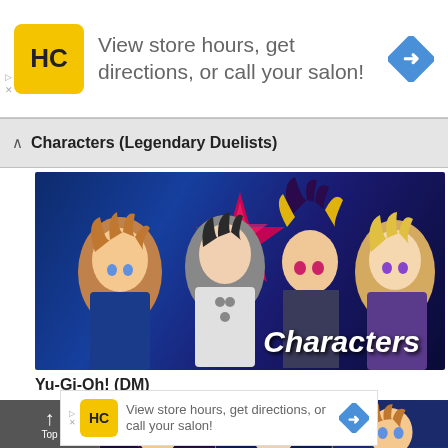[Figure (screenshot): Advertisement banner: HC logo (yellow background), text 'View store hours, get directions, or call your salon!', blue navigation arrow icon]
Characters (Legendary Duelists)
[Figure (photo): Yu-Gi-Oh! Characters banner image showing anime characters with 'Characters' text overlay on dark blue background]
Yu-Gi-Oh! (DM)
[Figure (screenshot): Bottom navigation bar with Top button and character thumbnails]
[Figure (screenshot): Bottom advertisement banner: HC logo, 'View store hours, get directions, or call your salon!', blue arrow icon]